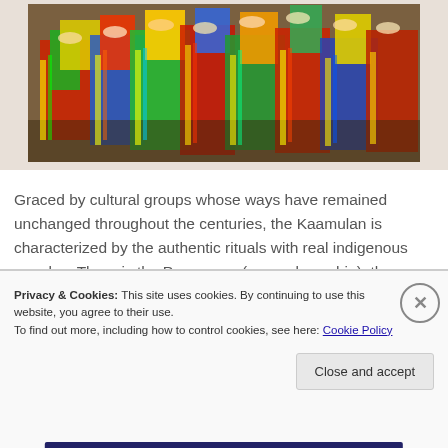[Figure (photo): Group of people in colorful traditional indigenous costumes with bright red, green, yellow, blue patterns and ornate necklaces and headpieces]
Graced by cultural groups whose ways have remained unchanged throughout the centuries, the Kaamulan is characterized by the authentic rituals with real indigenous peoples. There is the Pangampo (general worship), the Tagulambong hu Datu (ritual for the installation of a Chieftain), the Panumanod (a spiriting ceremony), the Panlisig (rite to drive away evil spirits), and the Pamalas (sin atonement ritual) among others.
Privacy & Cookies: This site uses cookies. By continuing to use this website, you agree to their use.
To find out more, including how to control cookies, see here: Cookie Policy